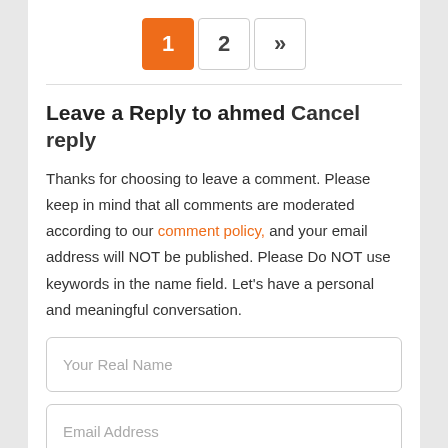[Figure (other): Pagination control with buttons: active page 1 (orange), page 2, and next arrow »]
Leave a Reply to ahmed Cancel reply
Thanks for choosing to leave a comment. Please keep in mind that all comments are moderated according to our comment policy, and your email address will NOT be published. Please Do NOT use keywords in the name field. Let's have a personal and meaningful conversation.
Your Real Name
Email Address